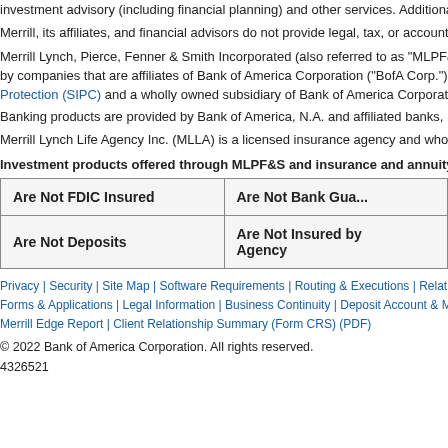investment advisory (including financial planning) and other services. Additional infor
Merrill, its affiliates, and financial advisors do not provide legal, tax, or accounting ad
Merrill Lynch, Pierce, Fenner & Smith Incorporated (also referred to as "MLPF&S" o by companies that are affiliates of Bank of America Corporation ("BofA Corp."). MLPF Protection (SIPC) and a wholly owned subsidiary of Bank of America Corporation ("B
Banking products are provided by Bank of America, N.A. and affiliated banks, Membe
Merrill Lynch Life Agency Inc. (MLLA) is a licensed insurance agency and wholly own
Investment products offered through MLPF&S and insurance and annuity prod
| Are Not FDIC Insured | Are Not Bank Gua |
| --- | --- |
| Are Not Deposits | Are Not Insured by Agency |
Privacy | Security | Site Map | Software Requirements | Routing & Executions | Relationship Forms & Applications | Legal Information | Business Continuity | Deposit Account & Money F Merrill Edge Report | Client Relationship Summary (Form CRS) (PDF)
© 2022 Bank of America Corporation. All rights reserved.
4326521